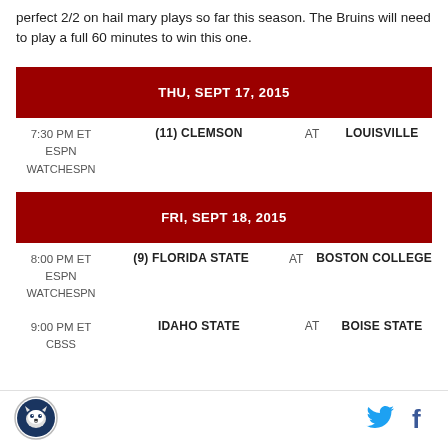perfect 2/2 on hail mary plays so far this season. The Bruins will need to play a full 60 minutes to win this one.
THU, SEPT 17, 2015
| Time/Network | Team | At | Opponent |
| --- | --- | --- | --- |
| 7:30 PM ET
ESPN
WATCHESPN | (11) CLEMSON | AT | LOUISVILLE |
FRI, SEPT 18, 2015
| Time/Network | Team | At | Opponent |
| --- | --- | --- | --- |
| 8:00 PM ET
ESPN
WATCHESPN | (9) FLORIDA STATE | AT | BOSTON COLLEGE |
| 9:00 PM ET
CBS... | IDAHO STATE | AT | BOISE STATE |
[Figure (logo): Sports site logo — husky/wolf mascot circular badge]
[Figure (logo): Twitter bird icon]
[Figure (logo): Facebook f icon]